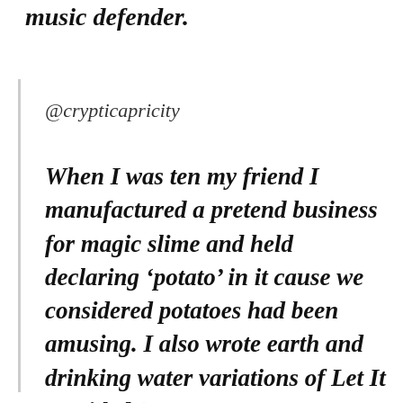music defender.
@crypticapricity
When I was ten my friend I manufactured a pretend business for magic slime and held declaring ‘potato’ in it cause we considered potatoes had been amusing. I also wrote earth and drinking water variations of Let It Go titled ‘Let It